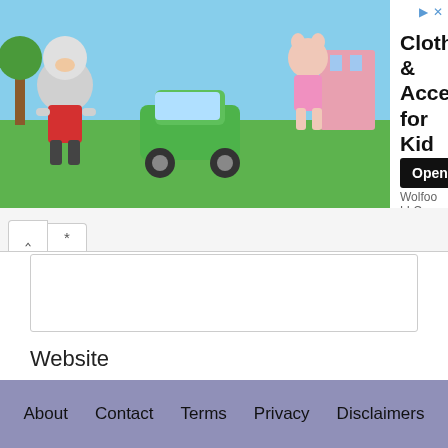[Figure (screenshot): Advertisement banner for 'Clothing & Accessories for Kid' by Wolfoo LLC with cartoon characters image on the left and text with Open button on the right]
Website
Save my name, email, and website in this browser for the next time I comment.
POST COMMENT
About   Contact   Terms   Privacy   Disclaimers